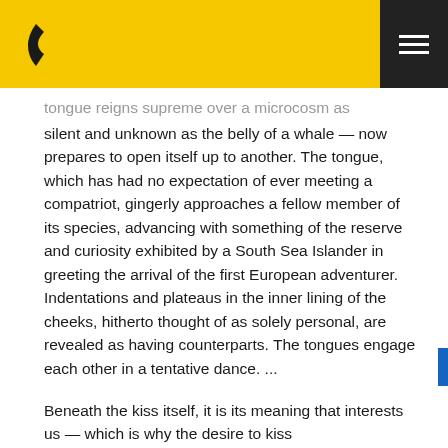[logo] [hamburger menu]
tongue reigns supreme over a microcosm as silent and unknown as the belly of a whale — now prepares to open itself up to another. The tongue, which has had no expectation of ever meeting a compatriot, gingerly approaches a fellow member of its species, advancing with something of the reserve and curiosity exhibited by a South Sea Islander in greeting the arrival of the first European adventurer. Indentations and plateaus in the inner lining of the cheeks, hitherto thought of as solely personal, are revealed as having counterparts. The tongues engage each other in a tentative dance. ...
Beneath the kiss itself, it is its meaning that interests us — which is why the desire to kiss